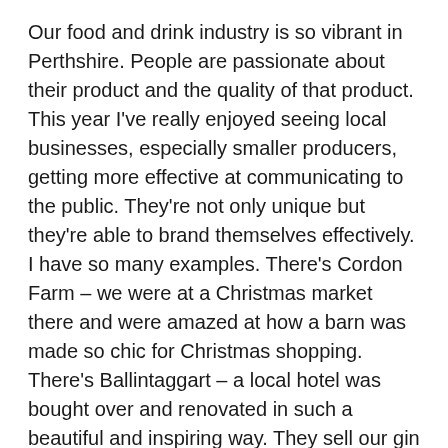Our food and drink industry is so vibrant in Perthshire. People are passionate about their product and the quality of that product. This year I've really enjoyed seeing local businesses, especially smaller producers, getting more effective at communicating to the public. They're not only unique but they're able to brand themselves effectively. I have so many examples. There's Cordon Farm – we were at a Christmas market there and were amazed at how a barn was made so chic for Christmas shopping. There's Ballintaggart – a local hotel was bought over and renovated in such a beautiful and inspiring way. They sell our gin in an amazing cocktail there so we've been lucky to work with them. Finally, there's also Bourtree – a local jam maker who we worked with to produce Badvo Gin Marmalade. Working with Jackie from Bourtree was amazing as I had no idea someone could be so talented at something like jam. It won Bronze at the World Marmalade Awards this year but I'm convinced it'll take